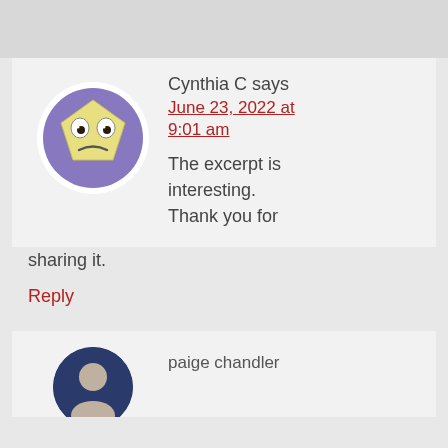[Figure (illustration): Sad face emoji avatar in a purple circle on white background]
Cynthia C says
June 23, 2022 at 9:01 am
The excerpt is interesting. Thank you for sharing it.
Reply
paige chandler